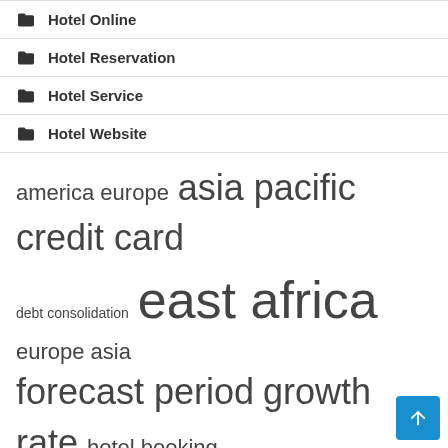Hotel Online
Hotel Reservation
Hotel Service
Hotel Website
america europe  asia pacific  credit card  debt consolidation  east africa  europe asia  forecast period  growth rate  hotel booking  hotel reservation  market players  market report  market research  market share  market size